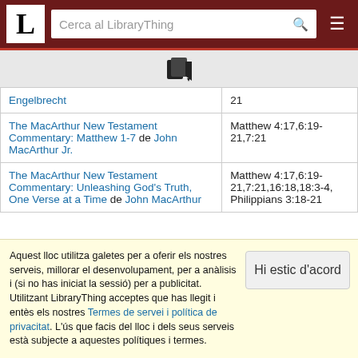[Figure (screenshot): LibraryThing website header with logo L, search bar 'Cerca al LibraryThing', and hamburger menu icon]
[Figure (logo): Book/document icon in toolbar area]
| Book | References |
| --- | --- |
| Engelbrecht | 21 |
| The MacArthur New Testament Commentary: Matthew 1-7 de John MacArthur Jr. | Matthew 4:17,6:19-21,7:21 |
| The MacArthur New Testament Commentary: Unleashing God's Truth, One Verse at a Time de John MacArthur | Matthew 4:17,6:19-21,7:21,16:18,18:3-4, Philippians 3:18-21 |
Aquest lloc utilitza galetes per a oferir els nostres serveis, millorar el desenvolupament, per a anàlisis i (si no has iniciat la sessió) per a publicitat. Utilitzant LibraryThing acceptes que has llegit i entès els nostres Termes de servei i política de privacitat. L'ús que facis del lloc i dels seus serveis està subjecte a aquestes polítiques i termes.